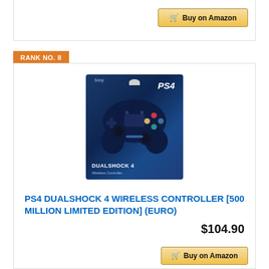[Figure (screenshot): Buy on Amazon button at top of page]
RANK NO. 8
[Figure (photo): PS4 DualShock 4 Wireless Controller 500 Million Limited Edition product box in dark navy blue color]
PS4 DUALSHOCK 4 WIRELESS CONTROLLER [500 MILLION LIMITED EDITION] (EURO)
$104.90
[Figure (screenshot): Buy on Amazon button at bottom of page]